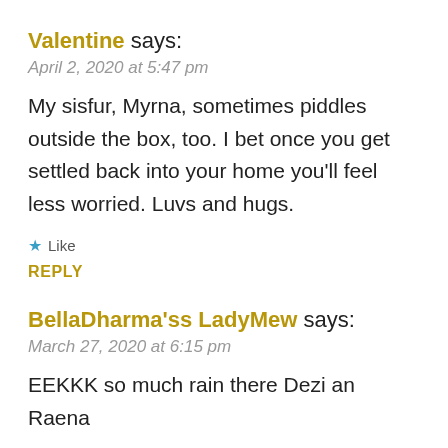Valentine says:
April 2, 2020 at 5:47 pm
My sisfur, Myrna, sometimes piddles outside the box, too. I bet once you get settled back into your home you’ll feel less worried. Luvs and hugs.
★ Like
REPLY
BellaDharma’ss LadyMew says:
March 27, 2020 at 6:15 pm
EEKKK so much rain there Dezi an Raena